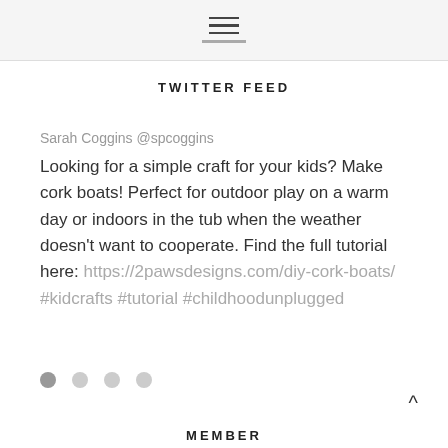≡
TWITTER FEED
Sarah Coggins @spcoggins
Looking for a simple craft for your kids? Make cork boats! Perfect for outdoor play on a warm day or indoors in the tub when the weather doesn't want to cooperate. Find the full tutorial here: https://2pawsdesigns.com/diy-cork-boats/  #kidcrafts #tutorial #childhoodunplugged
MEMBER